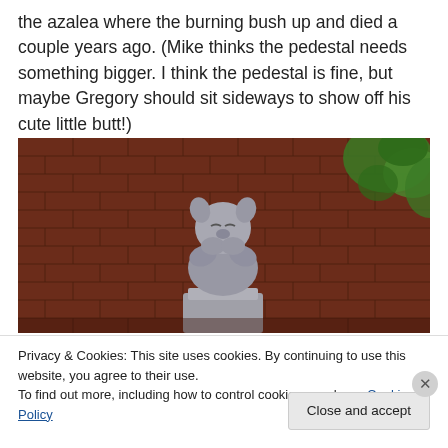the azalea where the burning bush up and died a couple years ago. (Mike thinks the pedestal needs something bigger. I think the pedestal is fine, but maybe Gregory should sit sideways to show off his cute little butt!)
[Figure (photo): A stone gargoyle statue sitting in front of a red brick wall, with green foliage/leaves visible in the upper right corner.]
Privacy & Cookies: This site uses cookies. By continuing to use this website, you agree to their use.
To find out more, including how to control cookies, see here: Cookie Policy